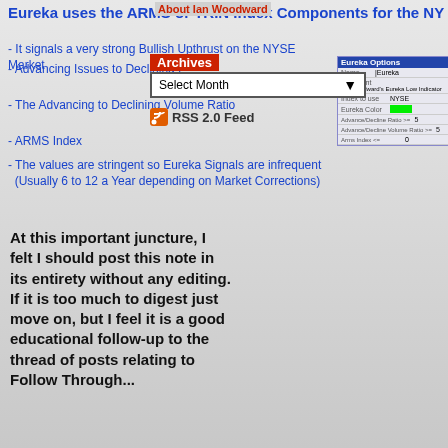Eureka uses the ARMS or TRIN Index Components for the NY
About Ian Woodward
It signals a very strong Bullish Upthrust on the NYSE Market
Advancing Issues to Declining Issues Ratio >= 5.40:1
The Advancing to Declining Volume Ratio >= 5.40:1
ARMS Index <= 0.60
The values are stringent so Eureka Signals are infrequent (Usually 6 to 12 a Year depending on Market Corrections)
At this important juncture, I felt I should post this note in its entirety without any editing.  If it is too much to digest just move on, but I feel it is a good educational follow-up to the thread of posts relating to Follow Through...